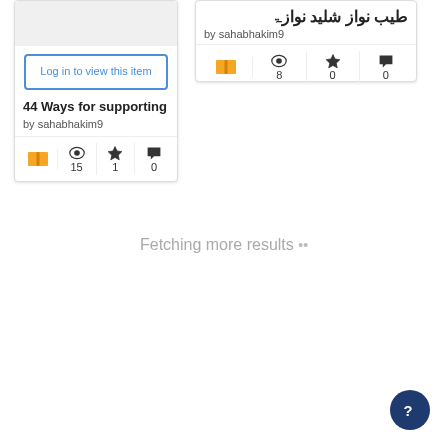[Figure (screenshot): Card with 'Log in to view this item' button, title '44 Ways for supporting', author 'by sahabhakim9', stats: 15 views, 1 star, 0 comments]
[Figure (screenshot): Card with Arabic title 'طيب نواز شليد نوازۃ', author 'by sahabhakim9', stats: 8 views, 0 stars, 0 comments]
Fetching more results ...